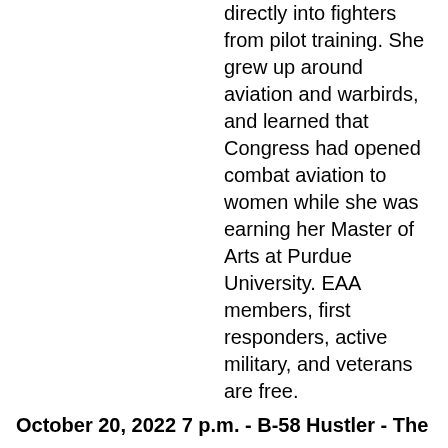directly into fighters from pilot training. She grew up around aviation and warbirds, and learned that Congress had opened combat aviation to women while she was earning her Master of Arts at Purdue University. EAA members, first responders, active military, and veterans are free.
October 20, 2022 7 p.m. - B-58 Hustler - The